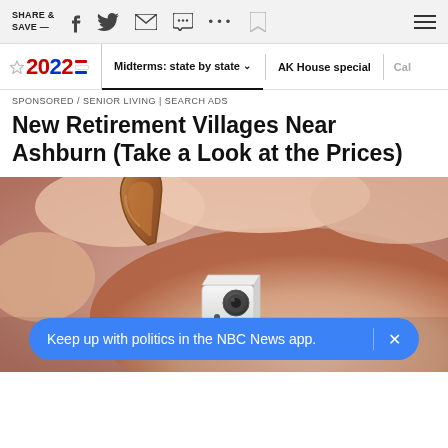SHARE & SAVE — [toolbar icons: facebook, twitter, email, chat, more, bookmark, menu]
2022 | Midterms: state by state ∨ | AK House special | Cal
SPONSORED / SENIOR LIVING | SEARCH ADS
New Retirement Villages Near Ashburn (Take a Look at the Prices)
[Figure (photo): Close-up photo of a hand holding a small white electronic device attached to a brown leather loop/keyring.]
Keep up with politics in the NBC News app.